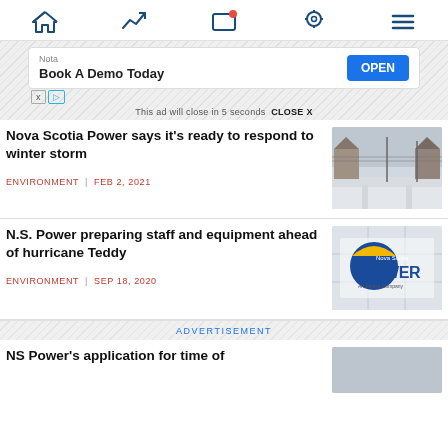Navigation bar with home, trending, screen, location, and menu icons
[Figure (screenshot): Advertisement banner: Nota - Book A Demo Today with OPEN button]
This ad will close in 5 seconds  CLOSE X
Nova Scotia Power says it's ready to respond to winter storm
ENVIRONMENT  |  FEB 2, 2021
[Figure (photo): Snow-covered street with houses and power lines in a winter storm]
N.S. Power preparing staff and equipment ahead of hurricane Teddy
ENVIRONMENT  |  SEP 18, 2020
[Figure (photo): Nova Scotia Power sign - An Emera Company logo on building exterior]
ADVERTISEMENT
NS Power's application for time of